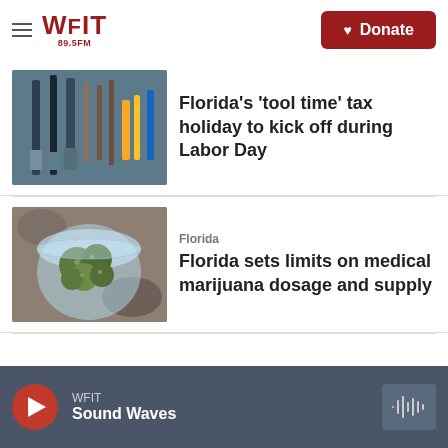WFIT 89.5FM — Donate
[Figure (photo): Tools including brushes and shovels photographed from above]
Florida's 'tool time' tax holiday to kick off during Labor Day
[Figure (photo): Glass jar containing cannabis buds]
Florida
Florida sets limits on medical marijuana dosage and supply
WFIT Sound Waves